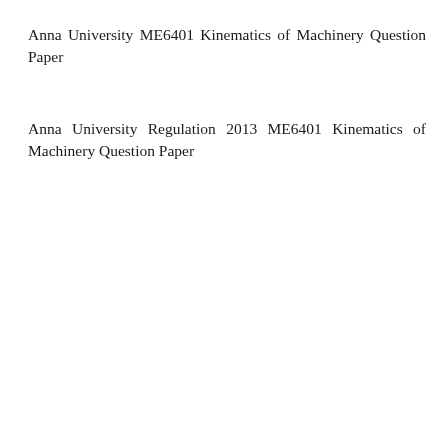Anna University ME6401 Kinematics of Machinery Question Paper
Anna University Regulation 2013 ME6401 Kinematics of Machinery Question Paper